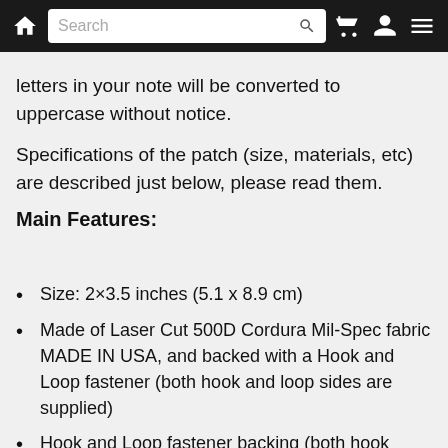Navigation bar with home, search, cart, user, and menu icons
letters in your note will be converted to uppercase without notice.
Specifications of the patch (size, materials, etc) are described just below, please read them.
Main Features:
Size: 2×3.5 inches (5.1 x 8.9 cm)
Made of Laser Cut 500D Cordura Mil-Spec fabric MADE IN USA, and backed with a Hook and Loop fastener (both hook and loop sides are supplied)
Hook and Loop fastener backing (both hook...